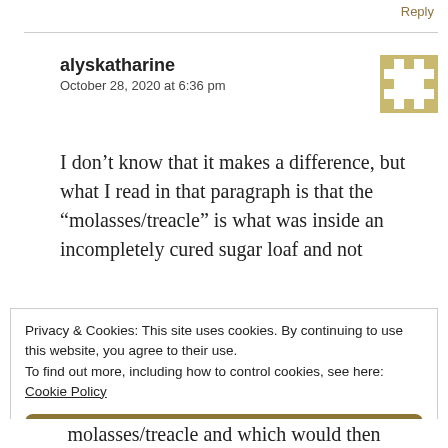Reply
alyskatharine
October 28, 2020 at 6:36 pm
I don’t know that it makes a difference, but what I read in that paragraph is that the “molasses/treacle” is what was inside an incompletely cured sugar loaf and not
Privacy & Cookies: This site uses cookies. By continuing to use this website, you agree to their use.
To find out more, including how to control cookies, see here:
Cookie Policy
Close and accept
molasses/treacle and which would then